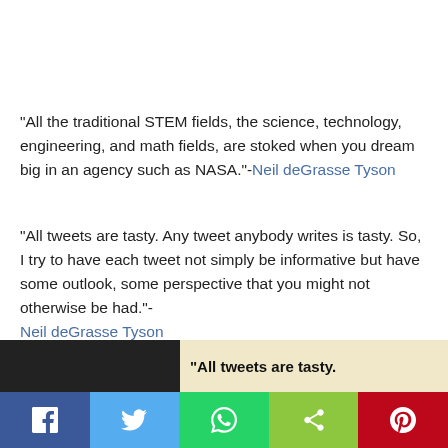“All the traditional STEM fields, the science, technology, engineering, and math fields, are stoked when you dream big in an agency such as NASA.”-Neil deGrasse Tyson
“All tweets are tasty. Any tweet anybody writes is tasty. So, I try to have each tweet not simply be informative but have some outlook, some perspective that you might not otherwise be had.”-Neil deGrasse Tyson
[Figure (screenshot): Partial screenshot showing Neil deGrasse Tyson with quote 'All tweets are tasty.' on a tan background]
[Figure (infographic): Social sharing bar with Facebook, Twitter, WhatsApp, Share, and Pinterest buttons]